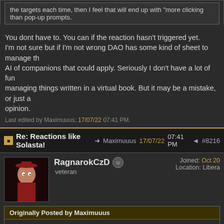the targets each time, then I feel that will end up with 'more clicking than pop-up prompts.
You dont have to. You can if the reaction hasn't triggered yet. I'm not sure but if I'm not wrong DAO has some kind of sheet to manage the AI of companions that could apply. Seriously I don't have a lot of fun managing things written in a virtual book. But it may be a mistake, or just a opinion.
Last edited by Maximuuus; 17/07/22 07:41 PM.
Re: Reactions like Solasta! → Maximuuus 17/07/22 07:41 PM ◄ #8216
RagnarokCzD  veteran  Joined: Oct 20  Location: Libera
Originally Posted by Maximuuus
How do you say "auto against stronger ennemies" with a toggle?
I never said with a toggle. O_o
I just presumed there is still a player behind the desk. 😁
Originally Posted by Maximuuus